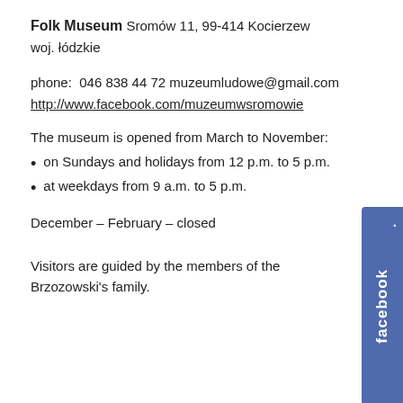Folk Museum
Sromów 11, 99-414 Kocierzew
woj. łódzkie
phone:  046 838 44 72
muzeumludowe@gmail.com
http://www.facebook.com/muzeumwsromowie
The museum is opened from March to November:
on Sundays and holidays from 12 p.m. to 5 p.m.
at weekdays from 9 a.m. to 5 p.m.
December – February – closed
Visitors are guided by the members of the Brzozowski's family.
[Figure (other): Facebook sidebar button with 'facebook.' text rotated vertically, blue/navy background]